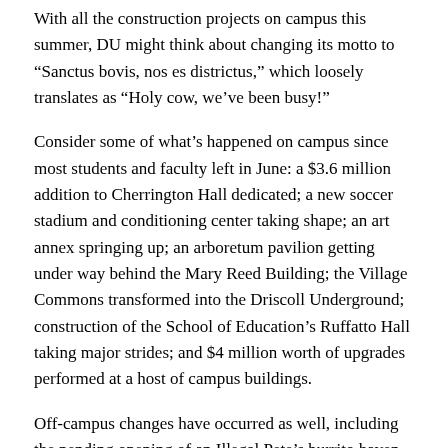With all the construction projects on campus this summer, DU might think about changing its motto to “Sanctus bovis, nos es districtus,” which loosely translates as “Holy cow, we’ve been busy!”
Consider some of what’s happened on campus since most students and faculty left in June: a $3.6 million addition to Cherrington Hall dedicated; a new soccer stadium and conditioning center taking shape; an art annex springing up; an arboretum pavilion getting under way behind the Mary Reed Building; the Village Commons transformed into the Driscoll Underground; construction of the School of Education’s Ruffatto Hall taking major strides; and $4 million worth of upgrades performed at a host of campus buildings.
Off-campus changes have occurred as well, including the pending opening of an Illegal Pete’s burrito haven and the conversion of a Blockbuster video store to a Noodles & Co. restaurant. Both are on East Evans Avenue at Williams Street.
For the DU community, campus projects are the most visible — especially the new soccer stadium, which recorded its first kick on the grass Aug. 28 at the DU Invitational women’s soccer tournament. Enough of the 1,900-capacity stadium was complete that a two-day